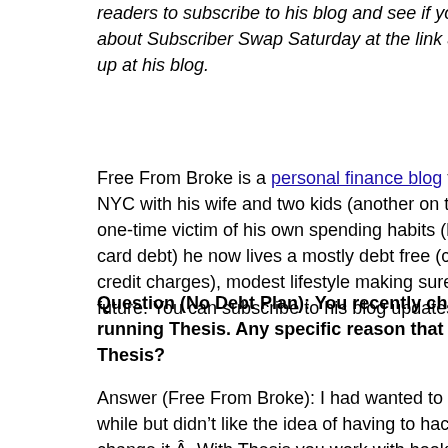readers to subscribe to his blog and see if you like what you find. about Subscriber Swap Saturday at the link above. His questions up at his blog.
Free From Broke is a personal finance blog for regular folks. FF NYC with his wife and two kids (another on the way), all on one in one-time victim of his own spending habits (he used to be thousan card debt) he now lives a mostly debt free (car and student loans credit charges), modest lifestyle making sure to save and secure h future. You can subscribe to his blog updates via RSS or e-mail.
Question (No Debt Plan): You recently changed themes and a running Thesis. Any specific reason that made you want to sw Thesis?
Answer (Free From Broke): I had wanted to change my theme aro while but didn't like the idea of having to hack my code every time change it.  With Thesis you work with hooks and the custom files changing the core files.  When there's an upgrade I don't want to start from scratch with figuring out my changes.  I also liked the w looked out of the box as well as the fact that there's a large comm